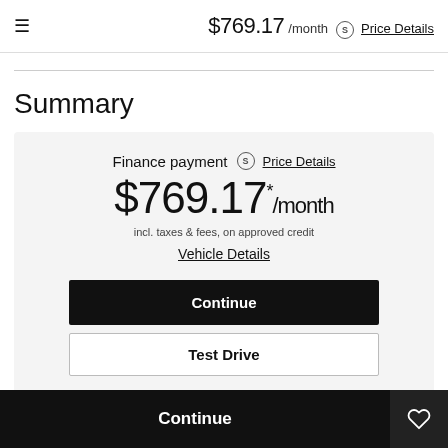≡  $769.17 /month ⓢ Price Details
Summary
Finance payment  ⓢ Price Details
$769.17*/month
incl. taxes & fees, on approved credit
Vehicle Details
Continue
Test Drive
Continue  ♡